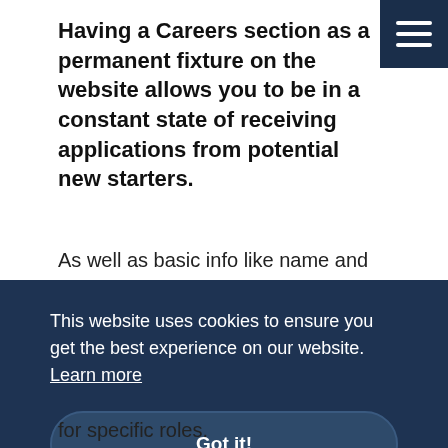Having a Careers section as a permanent fixture on the website allows you to be in a constant state of receiving applications from potential new starters.
As well as basic info like name and email, you can add fields on the
This website uses cookies to ensure you get the best experience on our website. Learn more
Got it!
for specific roles.